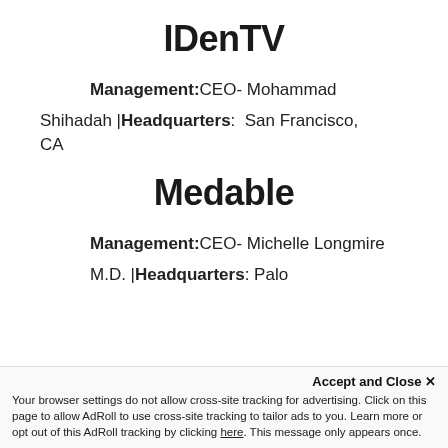IDenTV
Management:CEO- Mohammad Shihadah |Headquarters:  San Francisco, CA
Medable
Management:CEO- Michelle Longmire M.D. |Headquarters: Palo
Accept and Close ✕
Your browser settings do not allow cross-site tracking for advertising. Click on this page to allow AdRoll to use cross-site tracking to tailor ads to you. Learn more or opt out of this AdRoll tracking by clicking here. This message only appears once.